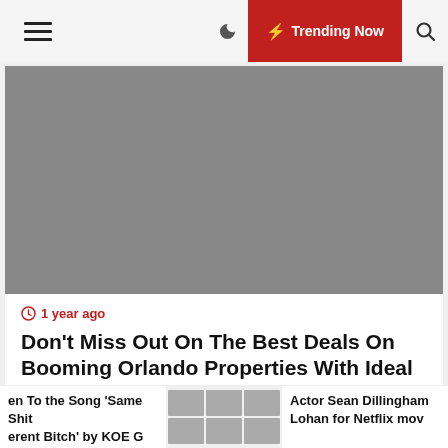Trending Now
[Figure (photo): Grey placeholder image for first article about Orlando Properties]
1 year ago
Don’t Miss Out On The Best Deals On Booming Orlando Properties With Ideal Homes International
[Figure (photo): Grey placeholder image for second article]
en To the Song ‘Same Shit erent Bitch’ by KOE G
[Figure (photo): Grid of six small celebrity photos in ticker bar]
Actor Sean Dillingham Lohan for Netflix mov